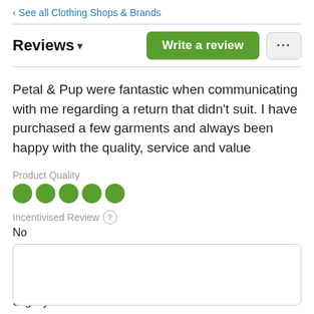‹ See all Clothing Shops & Brands
Reviews ▾
Petal & Pup were fantastic when communicating with me regarding a return that didn't suit. I have purchased a few garments and always been happy with the quality, service and value
Product Quality
●●●●● (5 green dots)
Incentivised Review (?)
No
Return Claim Made
Yes
Sizing (?)
Slightly small